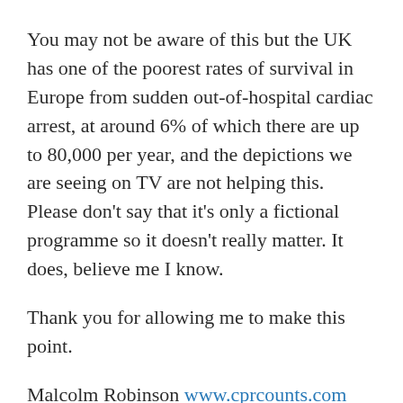You may not be aware of this but the UK has one of the poorest rates of survival in Europe from sudden out-of-hospital cardiac arrest, at around 6% of which there are up to 80,000 per year, and the depictions we are seeing on TV are not helping this. Please don't say that it's only a fictional programme so it doesn't really matter. It does, believe me I know.
Thank you for allowing me to make this point.
Malcolm Robinson www.cprcounts.com
Your complaint has been